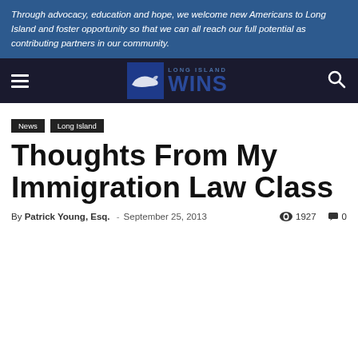Through advocacy, education and hope, we welcome new Americans to Long Island and foster opportunity so that we can all reach our full potential as contributing partners in our community.
[Figure (logo): Long Island WINS logo with navigation bar including hamburger menu and search icon]
News
Long Island
Thoughts From My Immigration Law Class
By Patrick Young, Esq. - September 25, 2013  1927  0